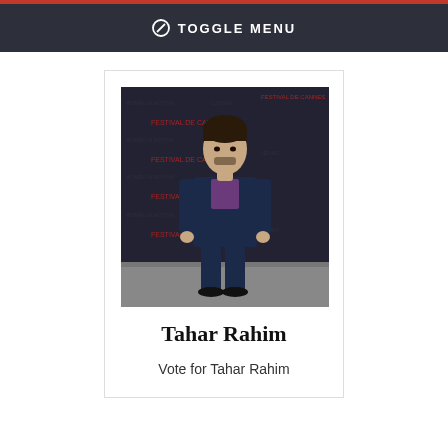TOGGLE MENU
[Figure (photo): Tahar Rahim standing in front of a dark branded backdrop with Cannes Festival logos, wearing a navy blue suit and purple shirt]
Tahar Rahim
Vote for Tahar Rahim